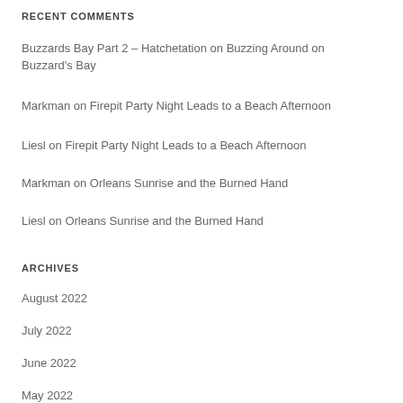RECENT COMMENTS
Buzzards Bay Part 2 – Hatchetation on Buzzing Around on Buzzard's Bay
Markman on Firepit Party Night Leads to a Beach Afternoon
Liesl on Firepit Party Night Leads to a Beach Afternoon
Markman on Orleans Sunrise and the Burned Hand
Liesl on Orleans Sunrise and the Burned Hand
ARCHIVES
August 2022
July 2022
June 2022
May 2022